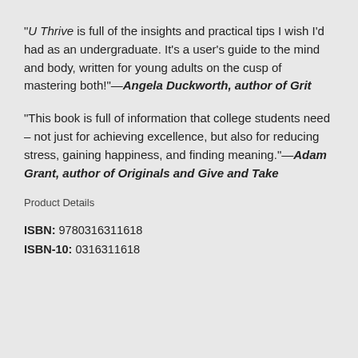"U Thrive is full of the insights and practical tips I wish I'd had as an undergraduate. It's a user's guide to the mind and body, written for young adults on the cusp of mastering both!"—Angela Duckworth, author of Grit
"This book is full of information that college students need – not just for achieving excellence, but also for reducing stress, gaining happiness, and finding meaning."—Adam Grant, author of Originals and Give and Take
Product Details
ISBN: 9780316311618
ISBN-10: 0316311618